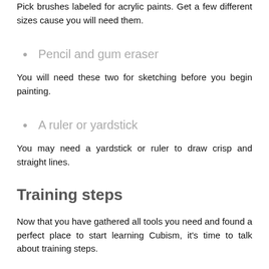Pick brushes labeled for acrylic paints. Get a few different sizes cause you will need them.
Pencil and gum eraser
You will need these two for sketching before you begin painting.
A ruler or yardstick
You may need a yardstick or ruler to draw crisp and straight lines.
Training steps
Now that you have gathered all tools you need and found a perfect place to start learning Cubism, it's time to talk about training steps.